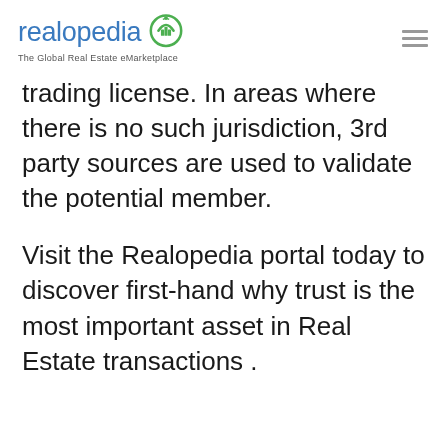realopedia – The Global Real Estate eMarketplace
trading license. In areas where there is no such jurisdiction, 3rd party sources are used to validate the potential member.
Visit the Realopedia portal today to discover first-hand why trust is the most important asset in Real Estate transactions .